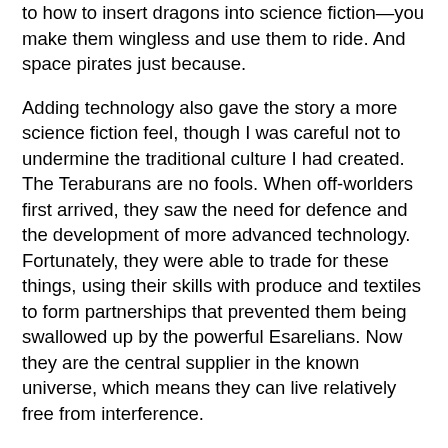to how to insert dragons into science fiction—you make them wingless and use them to ride. And space pirates just because.
Adding technology also gave the story a more science fiction feel, though I was careful not to undermine the traditional culture I had created. The Teraburans are no fools. When off-worlders first arrived, they saw the need for defence and the development of more advanced technology. Fortunately, they were able to trade for these things, using their skills with produce and textiles to form partnerships that prevented them being swallowed up by the powerful Esarelians. Now they are the central supplier in the known universe, which means they can live relatively free from interference.
At the end of the day, Discernment is about the people, and no matter where we go and what technology we have, people are the same. We all have dreams, goals, families, cultural values and expectations, and we all want to be seen and accepted for who we are. Discernment, hopefully, deals with that issue. But it's okay to read it for the space pirates and sekala buns too.